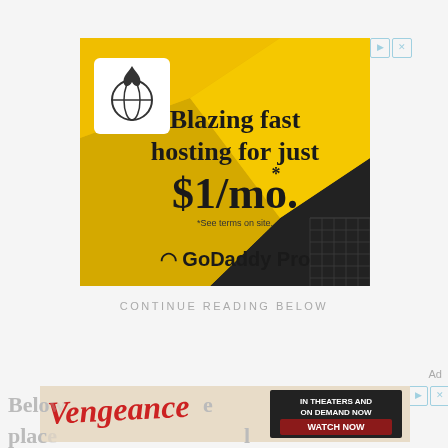[Figure (advertisement): GoDaddy Pro advertisement with yellow geometric background. Text reads: 'Blazing fast hosting for just $1/mo.* *See terms on site.' GoDaddy Pro logo at bottom. White card with flame/globe logo in upper left.]
CONTINUE READING BELOW
Ad
[Figure (advertisement): Vengeance movie advertisement banner. Red cursive 'Vengeance' title text on aged paper background. Text: 'IN THEATERS AND ON DEMAND NOW' with 'WATCH NOW' button.]
Below place d